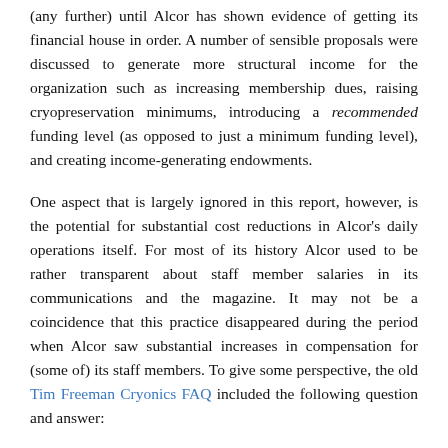(any further) until Alcor has shown evidence of getting its financial house in order. A number of sensible proposals were discussed to generate more structural income for the organization such as increasing membership dues, raising cryopreservation minimums, introducing a recommended funding level (as opposed to just a minimum funding level), and creating income-generating endowments.
One aspect that is largely ignored in this report, however, is the potential for substantial cost reductions in Alcor's daily operations itself. For most of its history Alcor used to be rather transparent about staff member salaries in its communications and the magazine. It may not be a coincidence that this practice disappeared during the period when Alcor saw substantial increases in compensation for (some of) its staff members. To give some perspective, the old Tim Freeman Cryonics FAQ included the following question and answer:
7.3 what compensation does someone in? What...